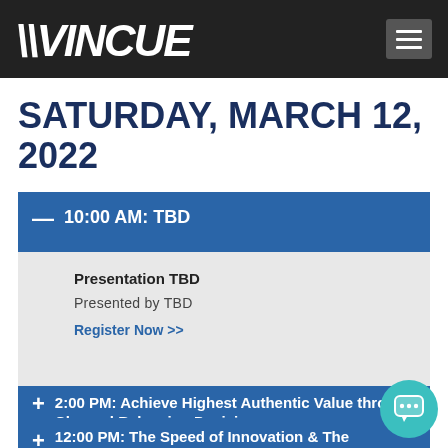WINCUE
SATURDAY, MARCH 12, 2022
— 10:00 AM: TBD
Presentation TBD
Presented by TBD
Register Now >>
+ 12:00 PM: The Speed of Innovation & The Importance of Vendor/Dealer Relationships (Kyle Mountsier & Paul Daly, Contagious Auto
+ 2:00 PM: Achieve Highest Authentic Value through Channel Balancing Decision...